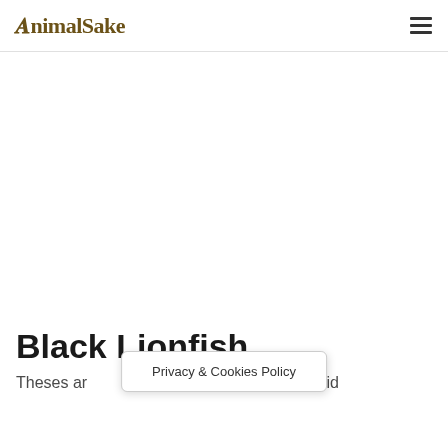AnimalSake
[Figure (other): Advertisement/empty white space area]
Black Lionfish
Theses ar... ed fish, with solid
Privacy & Cookies Policy